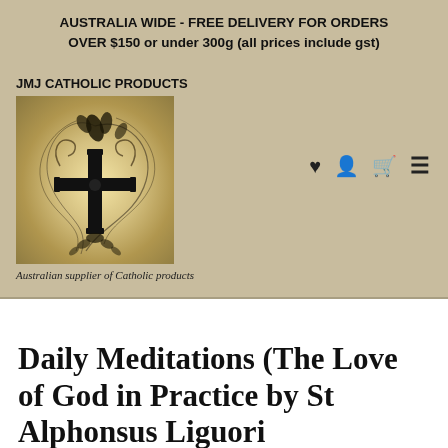AUSTRALIA WIDE - FREE DELIVERY FOR ORDERS OVER $150 or under 300g (all prices include gst)
JMJ CATHOLIC PRODUCTS
[Figure (logo): JMJ Catholic Products logo: ornate cross with decorative flourishes on a golden gradient background]
Australian supplier of Catholic products
Daily Meditations (The Love of God in Practice by St Alphonsus Liguori